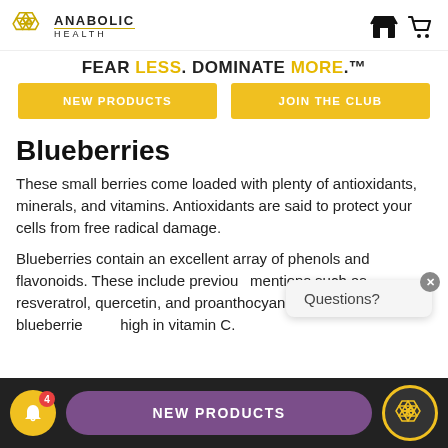ANABOLIC HEALTH — FEAR LESS. DOMINATE MORE.™
NEW PRODUCTS
JOIN THE CLUB
Blueberries
These small berries come loaded with plenty of antioxidants, minerals, and vitamins. Antioxidants are said to protect your cells from free radical damage.
Blueberries contain an excellent array of phenols and flavonoids. These include previous mentions such as resveratrol, quercetin, and proanthocyanidin. Of course, blueberrie high in vitamin C.
Questions?
NEW PRODUCTS